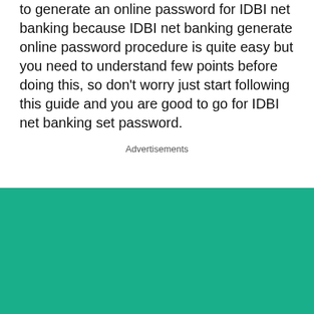to generate an online password for IDBI net banking because IDBI net banking generate online password procedure is quite easy but you need to understand few points before doing this, so don't worry just start following this guide and you are good to go for IDBI net banking set password.
Advertisements
We use cookies on our website to give you the most relevant experience by remembering your preferences and repeat visits. By clicking “Accept”, you consent to the use of ALL the cookies.
Do not sell my personal information.
Cookie settings
ACCEPT